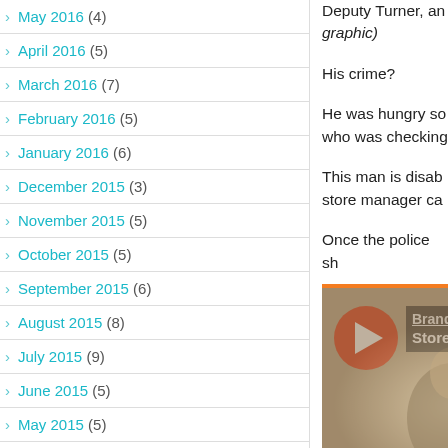May 2016 (4)
April 2016 (5)
March 2016 (7)
February 2016 (5)
January 2016 (6)
December 2015 (3)
November 2015 (5)
October 2015 (5)
September 2015 (6)
August 2015 (8)
July 2015 (9)
June 2015 (5)
May 2015 (5)
April 2015 (12)
Deputy Turner, an... graphic)
His crime?
He was hungry so... who was checking...
This man is disab... store manager ca...
Once the police sh...
[Figure (screenshot): Video thumbnail with orange play button, showing 'Brandi' and 'Store' text overlay on a dark background with a blurred image of a person.]